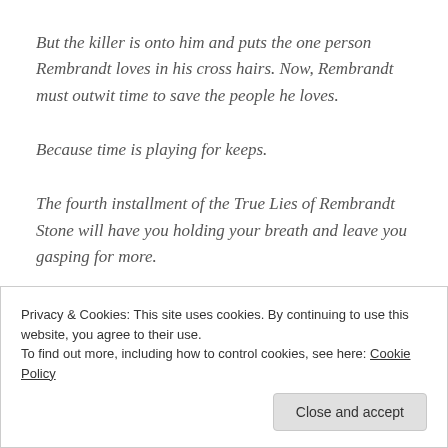But the killer is onto him and puts the one person Rembrandt loves in his cross hairs. Now, Rembrandt must outwit time to save the people he loves.
Because time is playing for keeps.
The fourth installment of the True Lies of Rembrandt Stone will have you holding your breath and leave you gasping for more.
Privacy & Cookies: This site uses cookies. By continuing to use this website, you agree to their use.
To find out more, including how to control cookies, see here: Cookie Policy